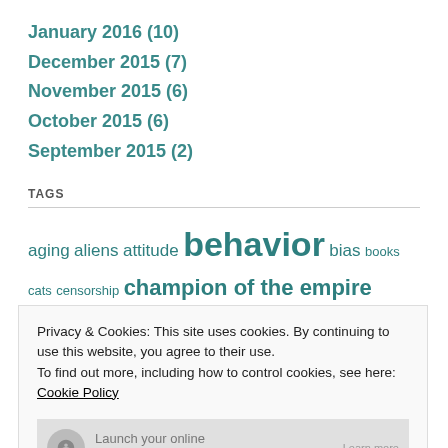January 2016 (10)
December 2015 (7)
November 2015 (6)
October 2015 (6)
September 2015 (2)
TAGS
aging aliens attitude behavior bias books cats censorship champion of the empire change characters collection collections coupon coupons Creativity crime details Detective Jimmy Delaney discovery writer eBook eBooks election
Privacy & Cookies: This site uses cookies. By continuing to use this website, you agree to their use. To find out more, including how to control cookies, see here: Cookie Policy
Close and accept